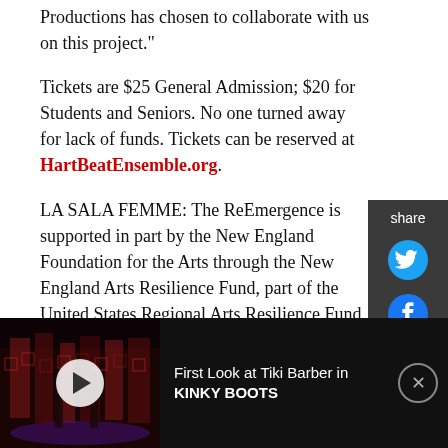Productions has chosen to collaborate with us on this project."
Tickets are $25 General Admission; $20 for Students and Seniors. No one turned away for lack of funds. Tickets can be reserved at HartBeatEnsemble.org.
LA SALA FEMME: The ReEmergence is supported in part by the New England Foundation for the Arts through the New England Arts Resilience Fund, part of the United States Regional Arts Resilience Fund, an initiative of the U.S. Regional Arts Organizations and The Andrew W. Mellon Foundation, with major funding from the federal CARES Act from the
[Figure (screenshot): Black ad bar at bottom with video thumbnail showing a stage with red lighting (Kinky Boots production), a play button, and text 'First Look at Tiki Barber in KINKY BOOTS' with a close button.]